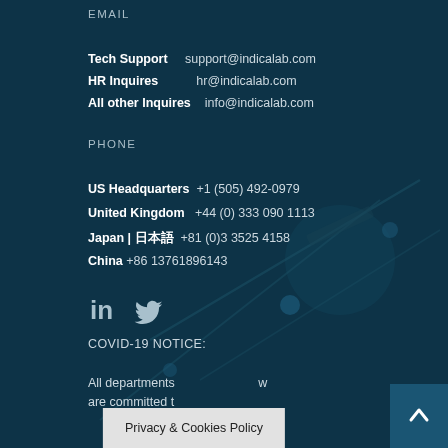EMAIL
Tech Support   support@indicalab.com
HR Inquires   hr@indicalab.com
All other Inquires   info@indicalab.com
PHONE
US Headquarters  +1 (505) 492-0979
United Kingdom  +44 (0) 333 090 1113
Japan | 日本語  +81 (0)3 3525 4158
China  +86 13761896143
[Figure (illustration): LinkedIn and Twitter social media icons]
COVID-19 NOTICE:
All departments w
are committed t
Privacy & Cookies Policy